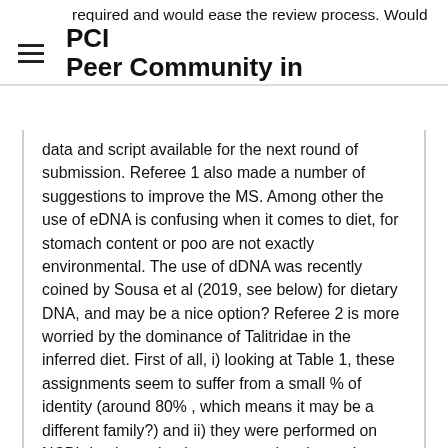required and would ease the review process. Would
PCI Peer Community in
data and script available for the next round of submission. Referee 1 also made a number of suggestions to improve the MS. Among other the use of eDNA is confusing when it comes to diet, for stomach content or poo are not exactly environmental. The use of dDNA was recently coined by Sousa et al (2019, see below) for dietary DNA, and may be a nice option? Referee 2 is more worried by the dominance of Talitridae in the inferred diet. First of all, i) looking at Table 1, these assignments seem to suffer from a small % of identity (around 80% , which means it may be a different family?) and ii) they were performed on NCBI database that is not curated and contains sometimes sequences associated to highly misleading identifications. Considering the dominance of the sequence of these OTUs in the dataset, despite the acknowledgement for possible secondary predation in the discussion (that would, I agree with referee 2, still sound even more awkward from cephalopods and